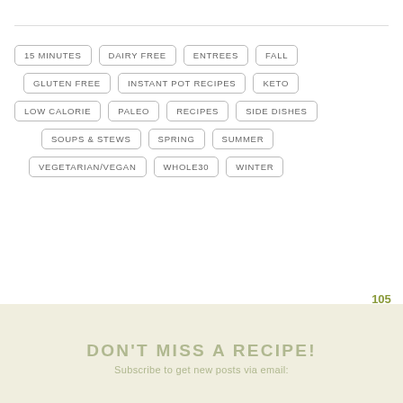15 MINUTES
DAIRY FREE
ENTREES
FALL
GLUTEN FREE
INSTANT POT RECIPES
KETO
LOW CALORIE
PALEO
RECIPES
SIDE DISHES
SOUPS & STEWS
SPRING
SUMMER
VEGETARIAN/VEGAN
WHOLE30
WINTER
posted by NATALIE on JULY 19, 2021
6 comments / LEAVE A COMMENT »
105
DON'T MISS A RECIPE!
Subscribe to get new posts via email: